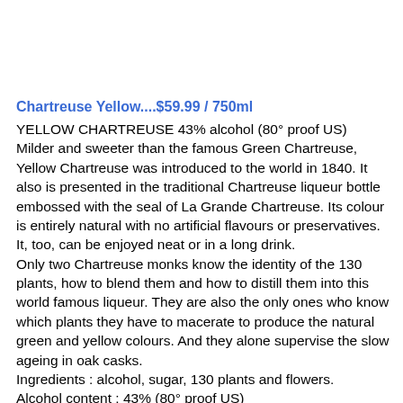Chartreuse Yellow....$59.99 / 750ml
YELLOW CHARTREUSE 43% alcohol (80° proof US) Milder and sweeter than the famous Green Chartreuse, Yellow Chartreuse was introduced to the world in 1840. It also is presented in the traditional Chartreuse liqueur bottle embossed with the seal of La Grande Chartreuse. Its colour is entirely natural with no artificial flavours or preservatives. It, too, can be enjoyed neat or in a long drink.
Only two Chartreuse monks know the identity of the 130 plants, how to blend them and how to distill them into this world famous liqueur. They are also the only ones who know which plants they have to macerate to produce the natural green and yellow colours. And they alone supervise the slow ageing in oak casks.
Ingredients : alcohol, sugar, 130 plants and flowers.
Alcohol content : 43% (80° proof US)
How to drink it : To bring out all its flavour, it should be consumed very cold, even on the rocks. Traditionally considered an after dinner drink, Chartreuse is more and